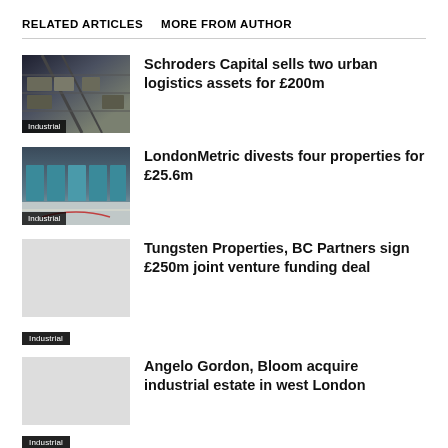RELATED ARTICLES   MORE FROM AUTHOR
Schroders Capital sells two urban logistics assets for £200m
LondonMetric divests four properties for £25.6m
Tungsten Properties, BC Partners sign £250m joint venture funding deal
Angelo Gordon, Bloom acquire industrial estate in west London